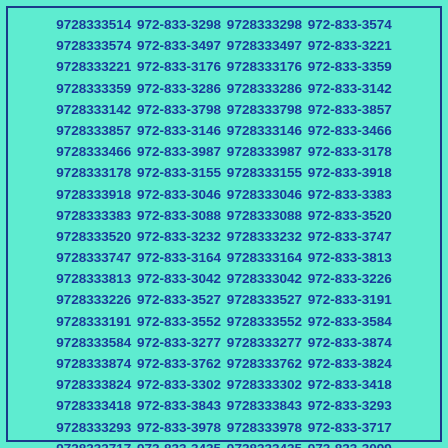9728333514 972-833-3298 9728333298 972-833-3574 9728333574 972-833-3497 9728333497 972-833-3221 9728333221 972-833-3176 9728333176 972-833-3359 9728333359 972-833-3286 9728333286 972-833-3142 9728333142 972-833-3798 9728333798 972-833-3857 9728333857 972-833-3146 9728333146 972-833-3466 9728333466 972-833-3987 9728333987 972-833-3178 9728333178 972-833-3155 9728333155 972-833-3918 9728333918 972-833-3046 9728333046 972-833-3383 9728333383 972-833-3088 9728333088 972-833-3520 9728333520 972-833-3232 9728333232 972-833-3747 9728333747 972-833-3164 9728333164 972-833-3813 9728333813 972-833-3042 9728333042 972-833-3226 9728333226 972-833-3527 9728333527 972-833-3191 9728333191 972-833-3552 9728333552 972-833-3584 9728333584 972-833-3277 9728333277 972-833-3874 9728333874 972-833-3762 9728333762 972-833-3824 9728333824 972-833-3302 9728333302 972-833-3418 9728333418 972-833-3843 9728333843 972-833-3293 9728333293 972-833-3978 9728333978 972-833-3717 9728333717 972-833-3435 9728333435 972-833-3099 9728333099 972-833-3398 9728333398 972-833-3795 9728333795 972-833-3596 9728333596 972-833-3251 9728333251 972-833-3697 9728333697 972-833-3664 9728333664 972-833-3745 9728333745 972-833-3100 9728333100 972-833-3069 9728333069 972-833-3253